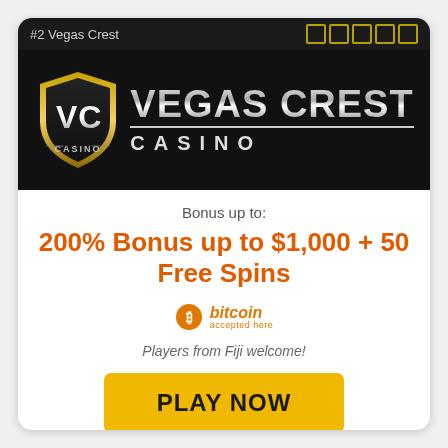#2 Vegas Crest
[Figure (logo): Vegas Crest Casino logo with VC shield emblem on dark background]
Bonus up to:
200% Bonus up to $1,000 + 50 Free Spins
[Figure (logo): Bitcoin accepted here logo]
Players from Fiji welcome!
PLAY NOW